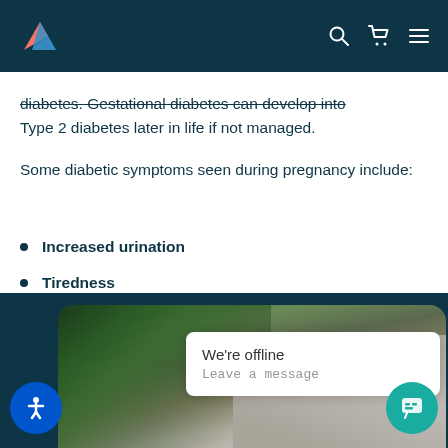Navigation header with logo and icons
diabetes. Gestational diabetes can develop into Type 2 diabetes later in life if not managed.
Some diabetic symptoms seen during pregnancy include:
Increased urination
Tiredness
Increased thirst
[Figure (photo): Photo of a person at a desk surrounded by plants, partially visible at bottom of page]
We're offline
Leave a message